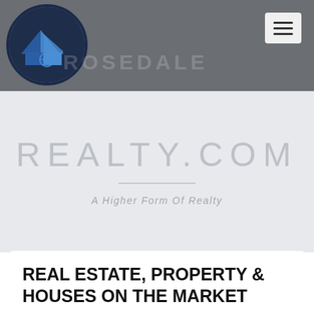[Figure (logo): Rosedale Realty logo: circular dark blue border with a house icon featuring blue roof peaks and a globe/compass symbol, on a gray header bar]
ROSEDALE
REALTY.COM
A Higher Form Of Realty
REAL ESTATE, PROPERTY & HOUSES ON THE MARKET